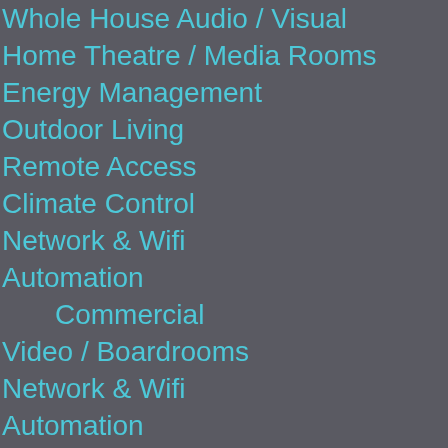Whole House Audio / Visual
Home Theatre / Media Rooms
Energy Management
Outdoor Living
Remote Access
Climate Control
Network & Wifi
Automation
Commercial
Video / Boardrooms
Network & Wifi
Automation
Lighting/Blinds Control
Surveillance & Security
Remote Access
Multi Area Audio Visual
Inspiration
De...